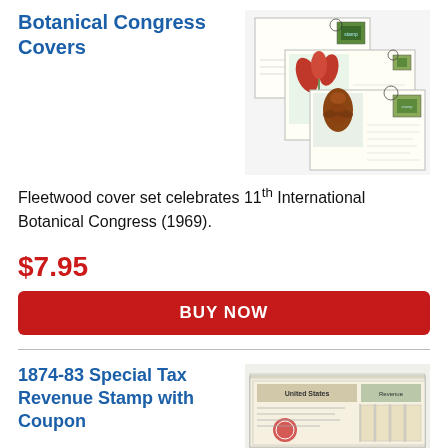Botanical Congress Covers
[Figure (photo): Photo of Fleetwood first day covers with botanical stamp designs including flowers and plants.]
Fleetwood cover set celebrates 11th International Botanical Congress (1969).
$7.95
BUY NOW
1874-83 Special Tax Revenue Stamp with Coupon
[Figure (photo): Photo of Special Tax Revenue Stamp with coupon documents stacked together.]
Own the largest tax revenue stamp ever issued!  Selections vary.